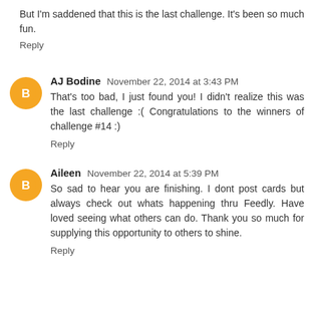But I'm saddened that this is the last challenge. It's been so much fun.
Reply
AJ Bodine November 22, 2014 at 3:43 PM
That's too bad, I just found you! I didn't realize this was the last challenge :( Congratulations to the winners of challenge #14 :)
Reply
Aileen November 22, 2014 at 5:39 PM
So sad to hear you are finishing. I dont post cards but always check out whats happening thru Feedly. Have loved seeing what others can do. Thank you so much for supplying this opportunity to others to shine.
Reply